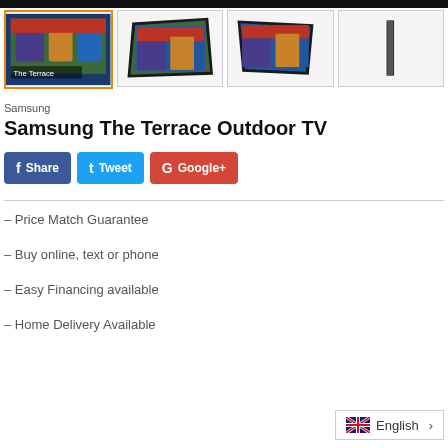[Figure (screenshot): Four product thumbnail images of Samsung The Terrace Outdoor TV. First thumbnail is active (orange border) showing front view with football game. Second shows angled view. Third shows another angled view. Fourth shows a side/profile view.]
Samsung
Samsung The Terrace Outdoor TV
[Figure (infographic): Social sharing buttons: Facebook Share (blue), Twitter Tweet (blue), Google+ (red)]
- Price Match Guarantee
- Buy online, text or phone
- Easy Financing available
- Home Delivery Available
[Figure (infographic): Language selector widget showing UK flag and 'English' with right arrow]